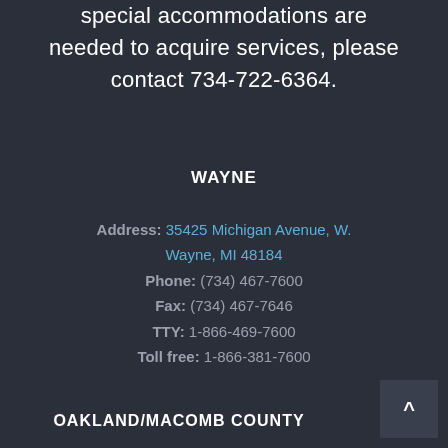special accommodations are needed to acquire services, please contact 734-722-6364.
WAYNE
Address: 35425 Michigan Avenue, W. Wayne, MI 48184
Phone: (734) 467-7600
Fax: (734) 467-7646
TTY: 1-866-469-7600
Toll free: 1-866-381-7600
OAKLAND/MACOMB COUNTY